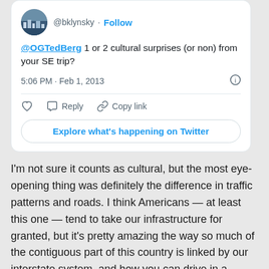[Figure (screenshot): Twitter/X embedded tweet card. Avatar image of a city scene at top left, handle @bklynsky with Follow link. Tweet text: '@OGTedBerg 1 or 2 cultural surprises (or non) from your SE trip?' Timestamp: 5:06 PM · Feb 1, 2013. Actions: like, reply, copy link. Button: Explore what's happening on Twitter.]
I'm not sure it counts as cultural, but the most eye-opening thing was definitely the difference in traffic patterns and roads. I think Americans — at least this one — tend to take our infrastructure for granted, but it's pretty amazing the way so much of the contiguous part of this country is linked by our interstate system, and how you can drive in a reasonably direct path from anyplace to anyplace mostly via huge, well-paved two- and three-lane highways. In Ho Chi Minh City, a bustling, modern metropolis of over nine million people, we needed to take all sorts of odd sidestreets and alleys to get from the